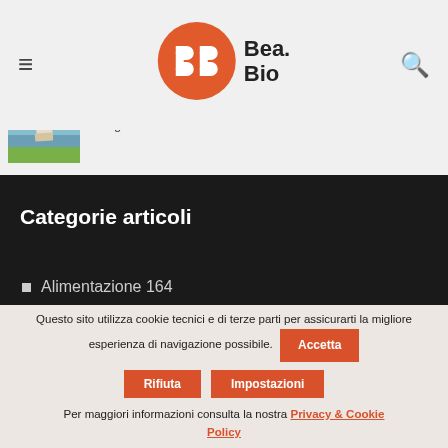Bea.Bio — navigation header with hamburger menu and search icon
Simboli elettorali: la scarica dei 101
15 Agosto
[Figure (photo): Thumbnail placeholder image for article about electoral symbols]
Pisa: chi si siede è perduto
14 Agosto 2022
[Figure (photo): Thumbnail photo of the Leaning Tower of Pisa]
Categorie articoli
Alimentazione 164
Questo sito utilizza cookie tecnici e di terze parti per assicurarti la migliore esperienza di navigazione possibile.
Per maggiori informazioni consulta la nostra Privacy & Cookie Policy